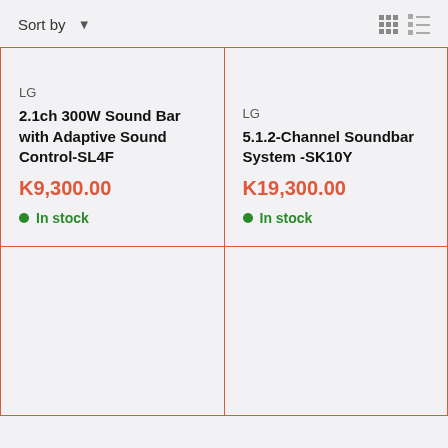Sort by
LG
2.1ch 300W Sound Bar with Adaptive Sound Control-SL4F
K9,300.00
In stock
LG
5.1.2-Channel Soundbar System -SK10Y
K19,300.00
In stock